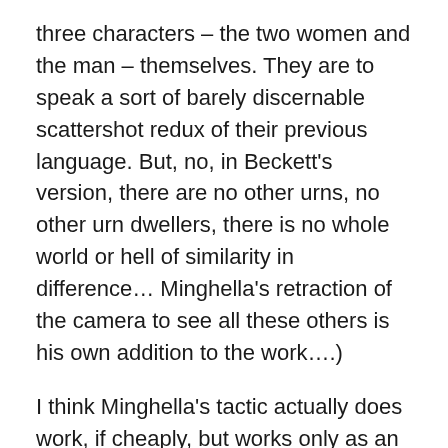three characters – the two women and the man – themselves. They are to speak a sort of barely discernable scattershot redux of their previous language. But, no, in Beckett's version, there are no other urns, no other urn dwellers, there is no whole world or hell of similarity in difference… Minghella's retraction of the camera to see all these others is his own addition to the work….)
I think Minghella's tactic actually does work, if cheaply, but works only as an underscoring of what we already should know from what we've seen of the three characters themselves and their words. And here is where we find the second, and ultimately more satisfying, mode of rendering the generic available here.
For it is the story itself that we're bound up in here – this tawdry, ultimately boring story of some sort of utterly